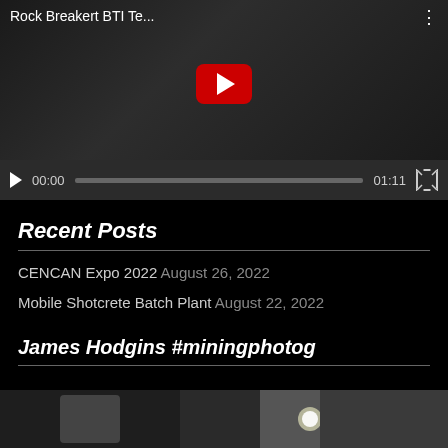[Figure (screenshot): YouTube video player showing 'Rock Breakert BTI Te...' with red play button overlay, video controls showing 00:00 / 01:11, progress bar, and fullscreen button on dark background]
Recent Posts
CENCAN Expo 2022 August 26, 2022
Mobile Shotcrete Batch Plant August 22, 2022
James Hodgins #miningphotog
[Figure (photo): Mining photography showing industrial equipment, dark scene with bright light source]